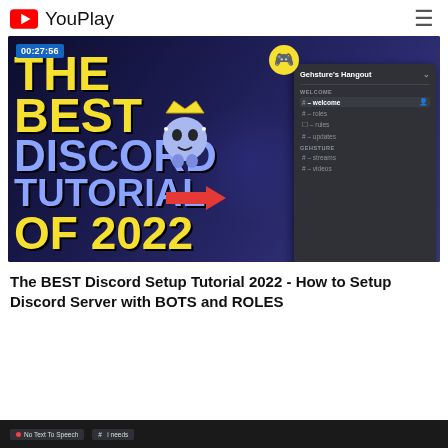YouPlay
[Figure (screenshot): YouTube-style video thumbnail showing 'THE BEST DISCORD TUTORIAL OF 2022' text in yellow and blue/purple, with a Discord bot character wearing a crown, a red arrow pointing right, and a Discord server channel panel on the right side. Time badge shows 00:27:56.]
The BEST Discord Setup Tutorial 2022 - How to Setup Discord Server with BOTS and ROLES
[Figure (screenshot): Partial screenshot of a Discord interface showing 'No Text To Speech' badge and other UI elements at the bottom of the page.]